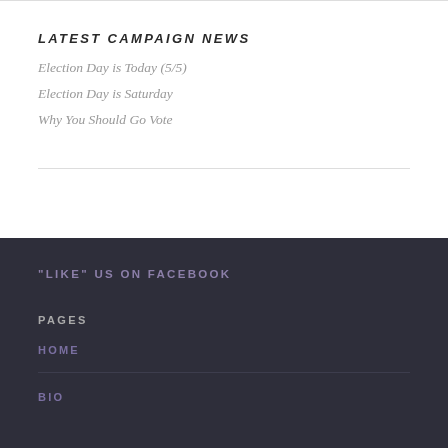LATEST CAMPAIGN NEWS
Election Day is Today (5/5)
Election Day is Saturday
Why You Should Go Vote
“LIKE” US ON FACEBOOK
PAGES
HOME
BIO